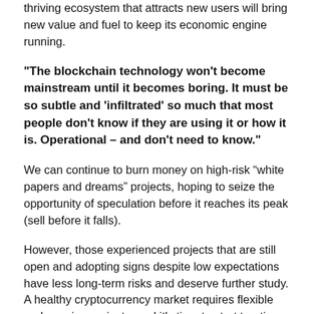thriving ecosystem that attracts new users will bring new value and fuel to keep its economic engine running.
"The blockchain technology won't become mainstream until it becomes boring. It must be so subtle and 'infiltrated' so much that most people don't know if they are using it or how it is. Operational – and don't need to know."
We can continue to burn money on high-risk “white papers and dreams” projects, hoping to seize the opportunity of speculation before it reaches its peak (sell before it falls).
However, those experienced projects that are still open and adopting signs despite low expectations have less long-term risks and deserve further study. A healthy cryptocurrency market requires flexible and growing projects, and it's time to start treating them more seriously.